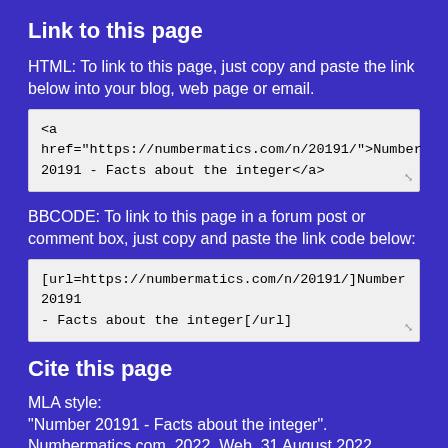Link to this page
HTML: To link to this page, just copy and paste the link below into your blog, web page or email.
<a href="https://numbermatics.com/n/20191/">Number 20191 - Facts about the integer</a>
BBCODE: To link to this page in a forum post or comment box, just copy and paste the link code below:
[url=https://numbermatics.com/n/20191/]Number 20191 - Facts about the integer[/url]
Cite this page
MLA style:
"Number 20191 - Facts about the integer". Numbermatics.com. 2022. Web. 31 August 2022.
APA style:
Numbermatics. (2022). Number 20191 - Facts about